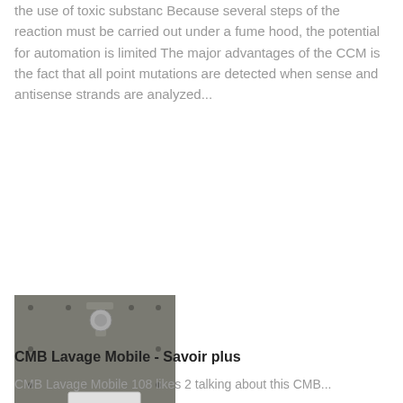the use of toxic substanc Because several steps of the reaction must be carried out under a fume hood, the potential for automation is limited The major advantages of the CCM is the fact that all point mutations are detected when sense and antisense strands are analyzed...
[Figure (photo): Close-up photograph of a mechanical device or equipment mounted on a surface, showing metal components including a bracket and a white rectangular unit, against a dark grey background.]
CMB Lavage Mobile - Savoir plus
CMB Lavage Mobile 108 likes 2 talking about this CMB...